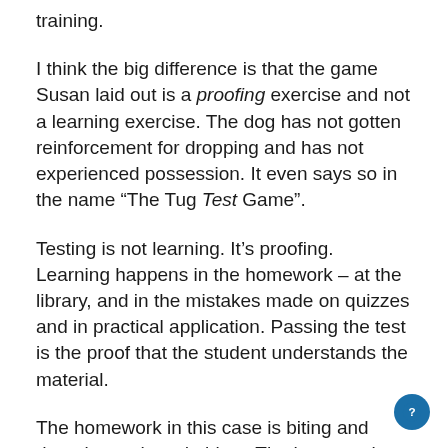training.
I think the big difference is that the game Susan laid out is a proofing exercise and not a learning exercise. The dog has not gotten reinforcement for dropping and has not experienced possession. It even says so in the name “The Tug Test Game”.
Testing is not learning. It’s proofing. Learning happens in the homework – at the library, and in the mistakes made on quizzes and in practical application. Passing the test is the proof that the student understands the material.
The homework in this case is biting and dropping a shared object. The homework never includes the possession of the object